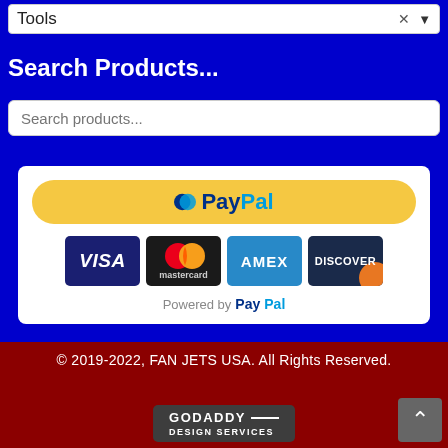[Figure (screenshot): Dropdown selector showing 'Tools' with clear (x) and expand (v) buttons]
Search Products...
[Figure (screenshot): Search products input box with placeholder text 'Search products...']
[Figure (screenshot): PayPal payment widget showing PayPal button and credit card logos (Visa, Mastercard, Amex, Discover) with 'Powered by PayPal' text]
© 2019-2022, FAN JETS USA. All Rights Reserved.
[Figure (logo): GoDaddy Design Services badge logo]